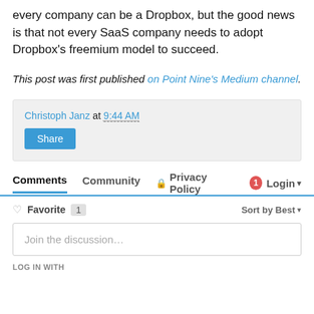every company can be a Dropbox, but the good news is that not every SaaS company needs to adopt Dropbox's freemium model to succeed.
This post was first published on Point Nine's Medium channel.
Christoph Janz at 9:44 AM
Share
Comments  Community  Privacy Policy  1  Login
Favorite  1  Sort by Best
Join the discussion…
LOG IN WITH